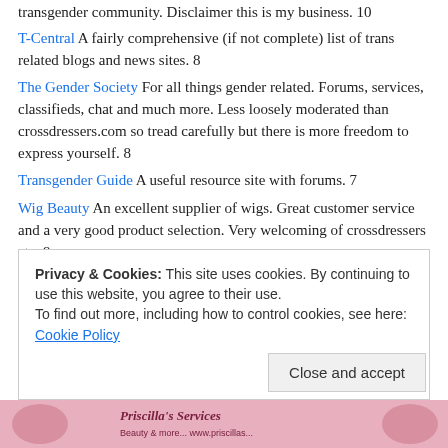transgender community. Disclaimer this is my business. 10
T-Central A fairly comprehensive (if not complete) list of trans related blogs and news sites. 8
The Gender Society For all things gender related. Forums, services, classifieds, chat and much more. Less loosely moderated than crossdressers.com so tread carefully but there is more freedom to express yourself. 8
Transgender Guide A useful resource site with forums. 7
Wig Beauty An excellent supplier of wigs. Great customer service and a very good product selection. Very welcoming of crossdressers etc. 9
Zando A very good online clothing retailer. Very good for crossdressers, very good range of shoes (up to size 9) and discreet packaging. Great returns policy as well. 10
Privacy & Cookies: This site uses cookies. By continuing to use this website, you agree to their use. To find out more, including how to control cookies, see here: Cookie Policy
Close and accept
[Figure (photo): Priscilla's Services banner image at the bottom of the page]